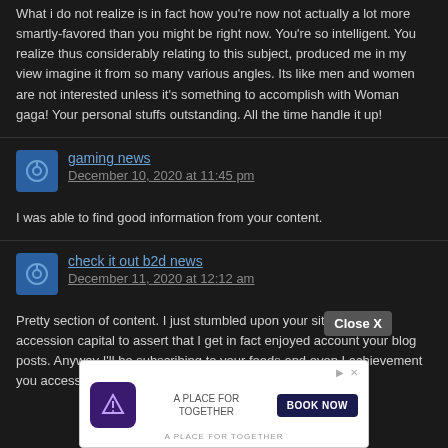What i do not realize is in fact how you're now not actually a lot more smartly-favored than you might be right now. You're so intelligent. You realize thus considerably relating to this subject, produced me in my view imagine it from so many various angles. Its like men and women are not interested unless it's something to accomplish with Woman gaga! Your personal stuffs outstanding. All the time handle it up!
gaming news
December 10, 2020 at 11:45 pm
I was able to find good information from your content.
check it out b2d news
December 11, 2020 at 12:12 am
Pretty section of content. I just stumbled upon your site and in accession capital to assert that I get in fact enjoyed account your blog posts. Anyway I'll be subscribing to your feeds and even I achievement you access consistently.
[Figure (other): Advertisement banner with a place for together logo, book now button, and close X overlay button]